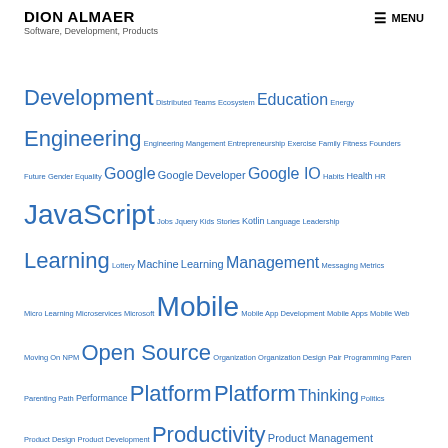DION ALMAER
Software, Development, Products
[Figure (other): Tag cloud with various technology and business topics in varying font sizes, all in blue. Tags include: Development, Distributed Teams, Ecosystem, Education, Energy, Engineering, Engineering Management, Entrepreneurship, Exercise, Family, Fitness, Founders, Future, Gender Equality, Google, Google Developer, Google IO, Habits, Health, HR, JavaScript, Jobs, Jquery, Kids Stories, Kotlin, Language, Leadership, Learning, Lottery, Machine Learning, Management, Messaging, Metrics, Micro Learning, Microservices, Microsoft, Mobile, Mobile App Development, Mobile Apps, Mobile Web, Moving On, NPM, Open Source, Organization, Organization Design, Pair Programming, Paren, Parenting, Path, Performance, Platform, Platform Thinking, Politics, Product Design, Product Development, Productivity, Product Management, Product Metrics, Programming, Progress, Progressive Enhancement, Progressive Web App, Project]